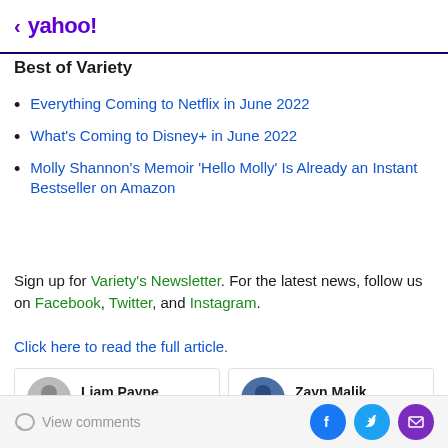< yahoo!
Best of Variety
Everything Coming to Netflix in June 2022
What's Coming to Disney+ in June 2022
Molly Shannon's Memoir 'Hello Molly' Is Already an Instant Bestseller on Amazon
Sign up for Variety's Newsletter. For the latest news, follow us on Facebook, Twitter, and Instagram.
Click here to read the full article.
Liam Payne
English singer
Zayn Malik
English singer
View comments